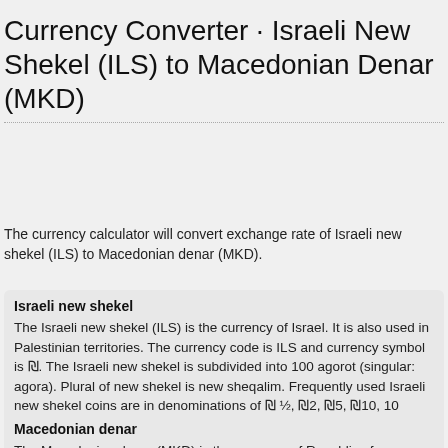Currency Converter · Israeli New Shekel (ILS) to Macedonian Denar (MKD)
The currency calculator will convert exchange rate of Israeli new shekel (ILS) to Macedonian denar (MKD).
Israeli new shekel
The Israeli new shekel (ILS) is the currency of Israel. It is also used in Palestinian territories. The currency code is ILS and currency symbol is ₪. The Israeli new shekel is subdivided into 100 agorot (singular: agora). Plural of new shekel is new sheqalim. Frequently used Israeli new shekel coins are in denominations of ₪ ½, ₪2, ₪5, ₪10, 10 agorot. Frequently used Israeli new shekel banknotes are in denominations of ₪20, ₪50, ₪100, ₪200.
Macedonian denar
The Macedonian denar (MKD) is the currency of Republic of Macedonia.